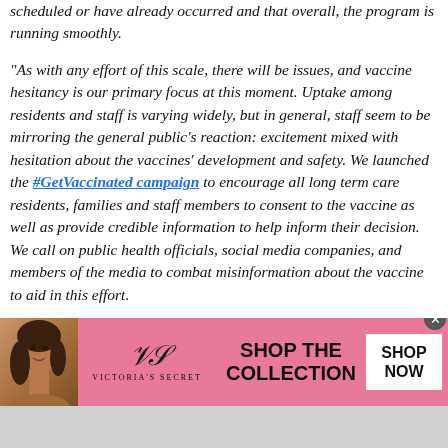scheduled or have already occurred and that overall, the program is running smoothly.

“As with any effort of this scale, there will be issues, and vaccine hesitancy is our primary focus at this moment. Uptake among residents and staff is varying widely, but in general, staff seem to be mirroring the general public’s reaction: excitement mixed with hesitation about the vaccines’ development and safety. We launched the #GetVaccinated campaign to encourage all long term care residents, families and staff members to consent to the vaccine as well as provide credible information to help inform their decision. We call on public health officials, social media companies, and members of the media to combat misinformation about the vaccine to aid in this effort.
[Figure (infographic): Victoria's Secret advertisement banner with a model photo on the left, VS logo in center, 'SHOP THE COLLECTION' text, and a 'SHOP NOW' button on the right. Pink background.]